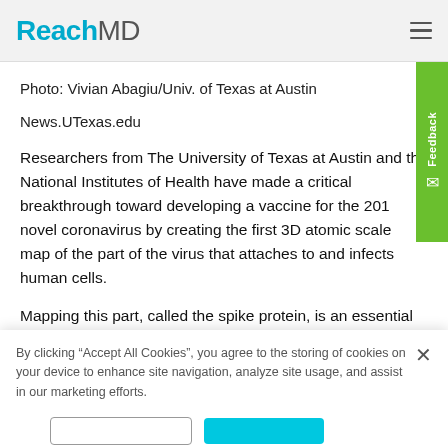ReachMD
Photo: Vivian Abagiu/Univ. of Texas at Austin
News.UTexas.edu
Researchers from The University of Texas at Austin and the National Institutes of Health have made a critical breakthrough toward developing a vaccine for the 2019 novel coronavirus by creating the first 3D atomic scale map of the part of the virus that attaches to and infects human cells.
Mapping this part, called the spike protein, is an essential
By clicking “Accept All Cookies”, you agree to the storing of cookies on your device to enhance site navigation, analyze site usage, and assist in our marketing efforts.